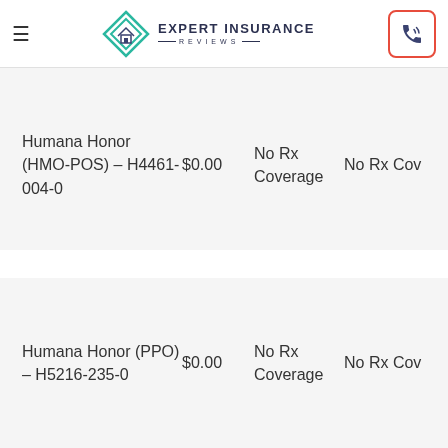Expert Insurance Reviews
| Plan | Price | Rx Coverage |  |
| --- | --- | --- | --- |
| Humana Honor (HMO-POS) – H4461-004-0 | $0.00 | No Rx Coverage | No Rx Cov... |
| Humana Honor (PPO) – H5216-235-0 | $0.00 | No Rx Coverage | No Rx Cov... |